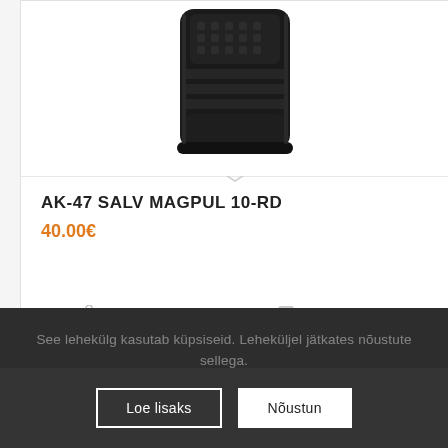[Figure (photo): Product photo of a black AK-47 Magpul 10-RD magazine with rubberized texture, shown from the front against a white background]
AK-47 SALV MAGPUL 10-RD
40.00€
Lisa korvi
Vaata üksikasju
See lehekülg kasutab küpsiseid. Leheküljel jätkates nõustute sellega.
Loe lisaks
Nõustun